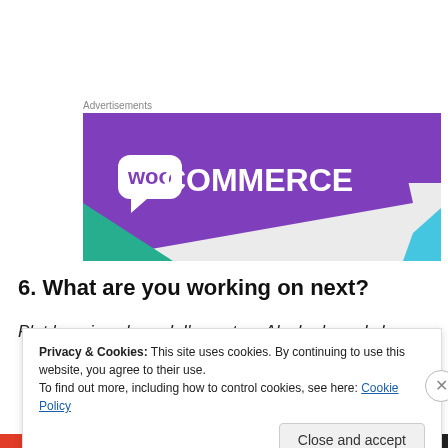Advertisements
[Figure (logo): WooCommerce advertisement banner with purple background and WooCommerce logo in white text with 'woo' in a speech bubble icon.]
6. What are you working on next?
Plot bunnies abound. I've got an Alaska-based shape
Privacy & Cookies: This site uses cookies. By continuing to use this website, you agree to their use.
To find out more, including how to control cookies, see here: Cookie Policy